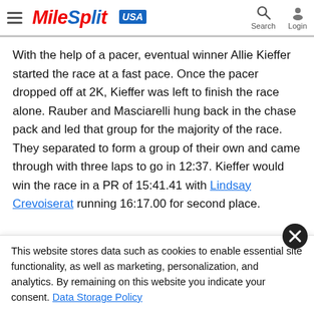MileSplit USA
With the help of a pacer, eventual winner Allie Kieffer started the race at a fast pace. Once the pacer dropped off at 2K, Kieffer was left to finish the race alone. Rauber and Masciarelli hung back in the chase pack and led that group for the majority of the race. They separated to form a group of their own and came through with three laps to go in 12:37. Kieffer would win the race in a PR of 15:41.41 with Lindsay Crevoiserat running 16:17.00 for second place.
This website stores data such as cookies to enable essential site functionality, as well as marketing, personalization, and analytics. By remaining on this website you indicate your consent. Data Storage Policy